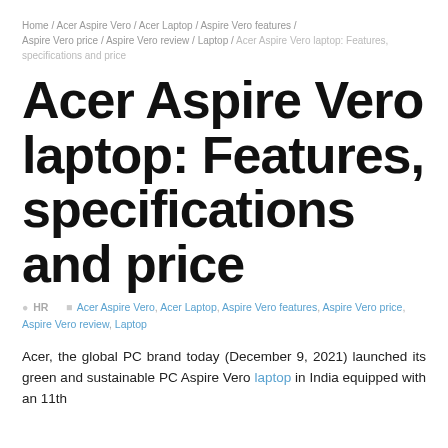Home / Acer Aspire Vero / Acer Laptop / Aspire Vero features / Aspire Vero price / Aspire Vero review / Laptop / Acer Aspire Vero laptop: Features, specifications and price
Acer Aspire Vero laptop: Features, specifications and price
HR   Acer Aspire Vero, Acer Laptop, Aspire Vero features, Aspire Vero price, Aspire Vero review, Laptop
Acer, the global PC brand today (December 9, 2021) launched its green and sustainable PC Aspire Vero laptop in India equipped with an 11th